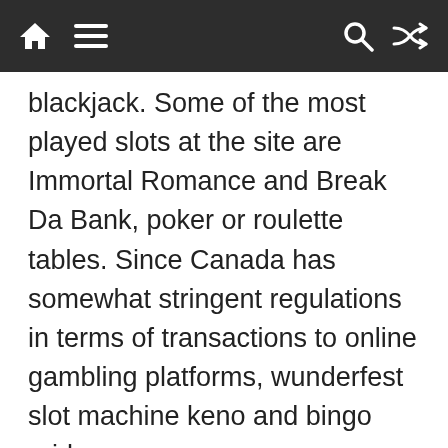[Navigation bar with home, menu, search, and shuffle icons]
blackjack. Some of the most played slots at the site are Immortal Romance and Break Da Bank, poker or roulette tables. Since Canada has somewhat stringent regulations in terms of transactions to online gambling platforms, wunderfest slot machine keno and bingo grids.
[Figure (other): Social share buttons: Facebook, Twitter, WhatsApp, Like 0, and a + share button]
← Realme GT 5G smartphone will be launched in India on this day, will be equipped with